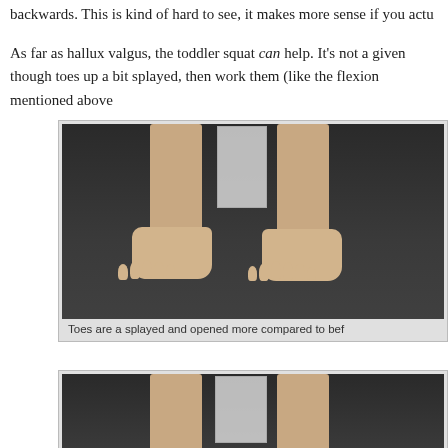backwards. This is kind of hard to see, it makes more sense if you actu
As far as hallux valgus, the toddler squat can help. It's not a given though toes up a bit splayed, then work them (like the flexion mentioned above
[Figure (photo): Front view of bare feet and lower legs standing on dark floor, with a clear box/block between the legs. Toes are visibly splayed.]
Toes are a splayed and opened more compared to bef
[Figure (photo): Second photo showing lower legs with a clear block between them, partial view cropped at bottom of page.]